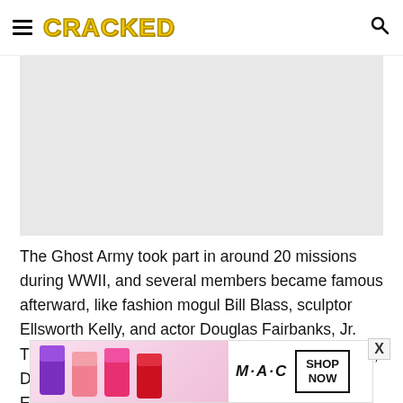CRACKED
[Figure (photo): Gray placeholder image area for an article photo]
The Ghost Army took part in around 20 missions during WWII, and several members became famous afterward, like fashion mogul Bill Blass, sculptor Ellsworth Kelly, and actor Douglas Fairbanks, Jr. The modern-day equivalent would be if Tom Hanks, David Bowie, Stephen King, Carson Kressley, and Edgar
[Figure (photo): MAC cosmetics advertisement banner showing lipsticks in purple, pink, and red with MAC logo and SHOP NOW button]